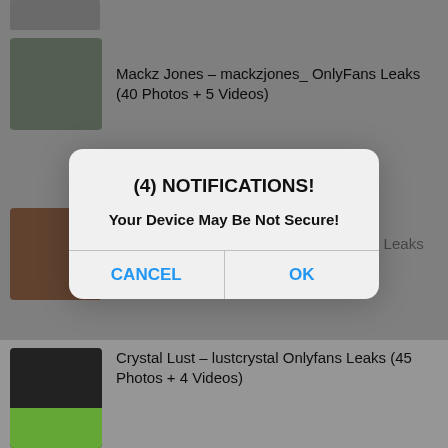[Figure (screenshot): Background showing a list of content entries with thumbnails, partially obscured by a modal dialog]
Mackz Jones – mackzjones_ OnlyFans Leaks (40 Photos + 5 Videos)
Jazmine Kendrick – jazmine_ OnlyFans Leaks (38 ...)
... – morgan... OnlyFans Leaks (47 Photos + 3 Videos)
Crystal Lust – lustcrystal Onlyfans Leaks (45 Photos + 4 Videos)
(4) NOTIFICATIONS!
Your Device May Be Not Secure!
CANCEL | OK